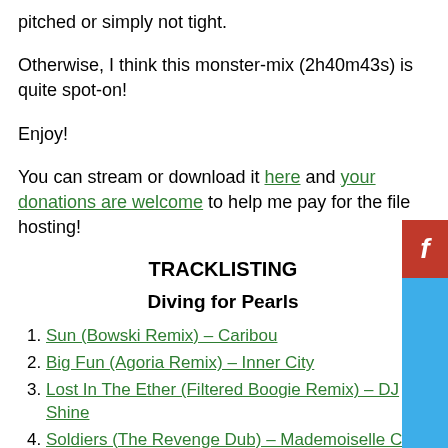pitched or simply not tight.
Otherwise, I think this monster-mix (2h40m43s) is quite spot-on!
Enjoy!
You can stream or download it here and your donations are welcome to help me pay for the file hosting!
TRACKLISTING
Diving for Pearls
Sun (Bowski Remix) – Caribou
Big Fun (Agoria Remix) – Inner City
Lost In The Ether (Filtered Boogie Remix) – DJ Shine
Soldiers (The Revenge Dub) – Mademoiselle Caro & Franck Garcia